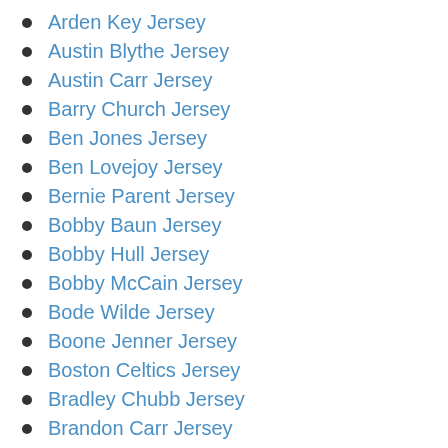Arden Key Jersey
Austin Blythe Jersey
Austin Carr Jersey
Barry Church Jersey
Ben Jones Jersey
Ben Lovejoy Jersey
Bernie Parent Jersey
Bobby Baun Jersey
Bobby Hull Jersey
Bobby McCain Jersey
Bode Wilde Jersey
Boone Jenner Jersey
Boston Celtics Jersey
Bradley Chubb Jersey
Brandon Carr Jersey
Brent Grimes Jersey
Brent Qvale Jersey
Brett Connolly Jersey
Brett Hull Jersey
Brian Allen Jersey